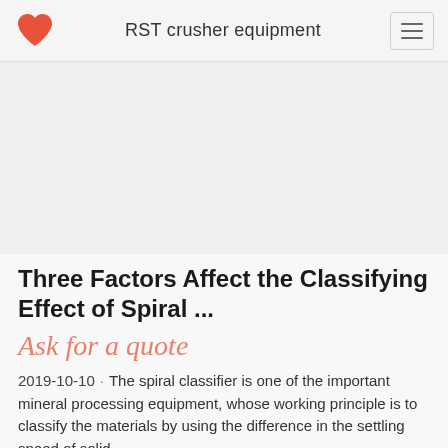RST crusher equipment
[Figure (other): Advertisement or banner area (blank/gray placeholder)]
Three Factors Affect the Classifying Effect of Spiral ...
Ask for a quote
2019-10-10 · The spiral classifier is one of the important mineral processing equipment, whose working principle is to classify the materials by using the difference in the settling speed of solid